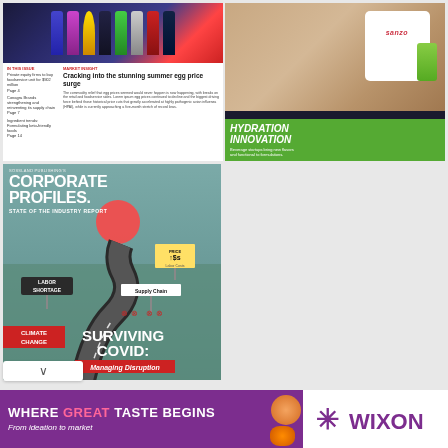[Figure (photo): Magazine cover showing colorful beverage bottles with article 'Cracking into the stunning summer egg price surge']
[Figure (photo): Magazine cover or advertisement for Sanzo beverage brand with 'HYDRATION INNOVATION' headline and person holding a green can]
[Figure (illustration): Sossland Publishing Corporate Profiles State of the Industry Report cover with road illustration featuring signs for Labor Shortage, Supply Chain, Climate Change, and 'Surviving Covid: Managing Disruption']
[Figure (photo): Wixon advertisement banner: 'WHERE GREAT TASTE BEGINS — From ideation to market' with food photos and Wixon logo]